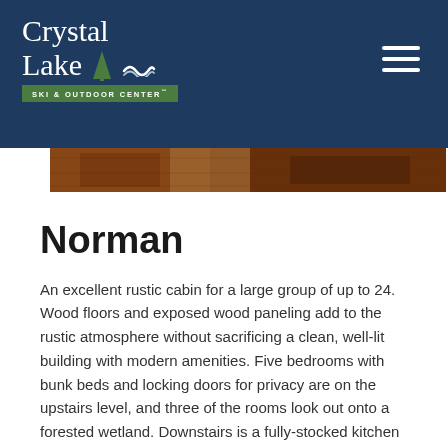Crystal Lake SKI & OUTDOOR CENTER
[Figure (photo): Partial photo strip showing wooden interior of a rustic cabin, cropped at the top of the content area]
Norman
An excellent rustic cabin for a large group of up to 24. Wood floors and exposed wood paneling add to the rustic atmosphere without sacrificing a clean, well-lit building with modern amenities. Five bedrooms with bunk beds and locking doors for privacy are on the upstairs level, and three of the rooms look out onto a forested wetland. Downstairs is a fully-stocked kitchen with range, microwave, and a refrigerator on the lower level in addition to a sofa seating area. There are two large